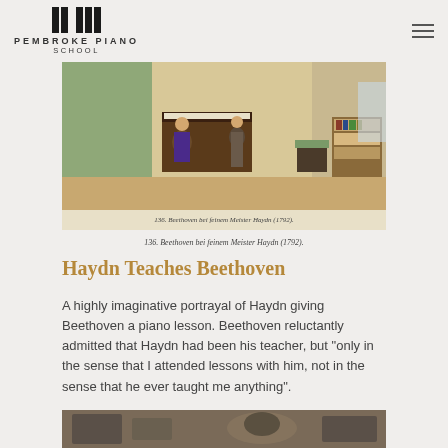PEMBROKE PIANO SCHOOL
[Figure (illustration): Historical illustration of Haydn teaching Beethoven a piano lesson in a room with a piano, chairs, and bookshelf. Caption reads: 136. Beethoven bei feinem Meister Haydn (1792).]
136. Beethoven bei feinem Meister Haydn (1792).
Haydn Teaches Beethoven
A highly imaginative portrayal of Haydn giving Beethoven a piano lesson. Beethoven reluctantly admitted that Haydn had been his teacher, but “only in the sense that I attended lessons with him, not in the sense that he ever taught me anything”.
[Figure (illustration): Partial view of another historical illustration at the bottom of the page.]